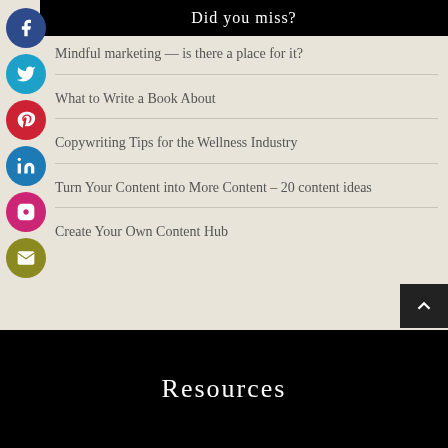Did you miss?
Mindful marketing — is there a place for it?
What to Write a Book About
Copywriting Tips for the Wellness Industry
Turn Your Content into More Content – 20 content ideas
Create Your Own Content Hub
Resources